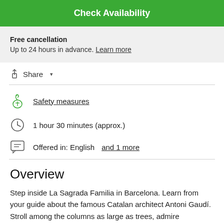Check Availability
Free cancellation
Up to 24 hours in advance. Learn more
Share
Safety measures
1 hour 30 minutes (approx.)
Offered in: English and 1 more
Overview
Step inside La Sagrada Familia in Barcelona. Learn from your guide about the famous Catalan architect Antoni Gaudí. Stroll among the columns as large as trees, admire